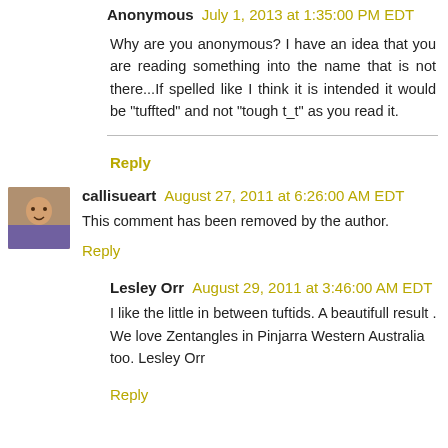Anonymous July 1, 2013 at 1:35:00 PM EDT
Why are you anonymous? I have an idea that you are reading something into the name that is not there...If spelled like I think it is intended it would be "tuffted" and not "tough t_t" as you read it.
Reply
callisueart August 27, 2011 at 6:26:00 AM EDT
This comment has been removed by the author.
Reply
Lesley Orr August 29, 2011 at 3:46:00 AM EDT
I like the little in between tuftids. A beautifull result . We love Zentangles in Pinjarra Western Australia too. Lesley Orr
Reply